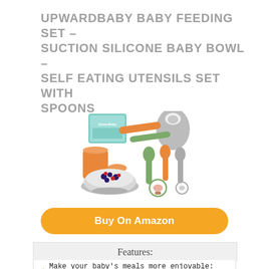UPWARDBABY BABY FEEDING SET – SUCTION SILICONE BABY BOWL – SELF EATING UTENSILS SET WITH SPOONS
[Figure (photo): Product photo of UpwardBaby baby feeding set showing silicone bowl with suction base filled with berries, orange cup, green and orange utensils/spoons, pacifier, bib, and product box on a white background]
Buy On Amazon
Features:
Make your baby's meals more enjoyable: This
Add a safe dinnerware set to your mealtime
Take the fuss out of your toddler dinnerware